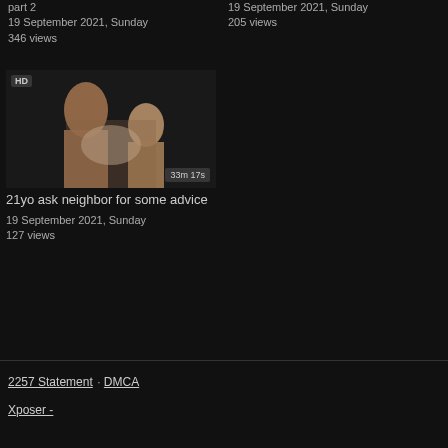part 2
19 September 2021, Sunday
346 views
19 September 2021, Sunday
205 views
[Figure (photo): Video thumbnail showing HD badge and 33m 17s duration]
21yo ask neighbor for some advice
19 September 2021, Sunday
127 views
2257 Statement · DMCA
Xposer -